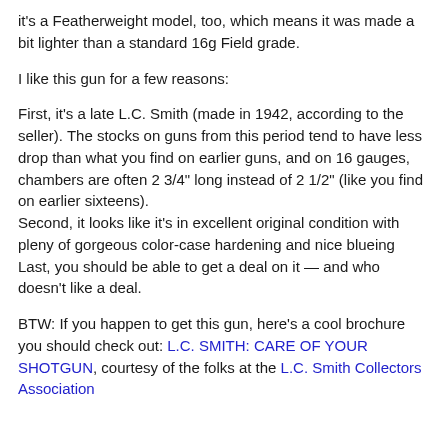it's a Featherweight model, too, which means it was made a bit lighter than a standard 16g Field grade.
I like this gun for a few reasons:
First, it's a late L.C. Smith (made in 1942, according to the seller). The stocks on guns from this period tend to have less drop than what you find on earlier guns, and on 16 gauges, chambers are often 2 3/4" long instead of 2 1/2" (like you find on earlier sixteens).
Second, it looks like it's in excellent original condition with pleny of gorgeous color-case hardening and nice blueing
Last, you should be able to get a deal on it — and who doesn't like a deal.
BTW: If you happen to get this gun, here's a cool brochure you should check out: L.C. SMITH: CARE OF YOUR SHOTGUN, courtesy of the folks at the L.C. Smith Collectors Association